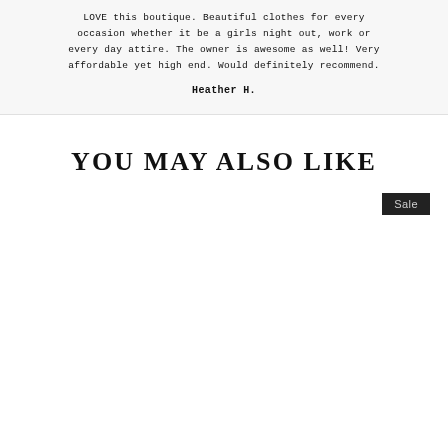LOVE this boutique. Beautiful clothes for every occasion whether it be a girls night out, work or every day attire. The owner is awesome as well! Very affordable yet high end. Would definitely recommend.
Heather H.
YOU MAY ALSO LIKE
[Figure (other): Product grid area with a Sale badge in the upper right corner. Product images are not visible (white/blank area).]